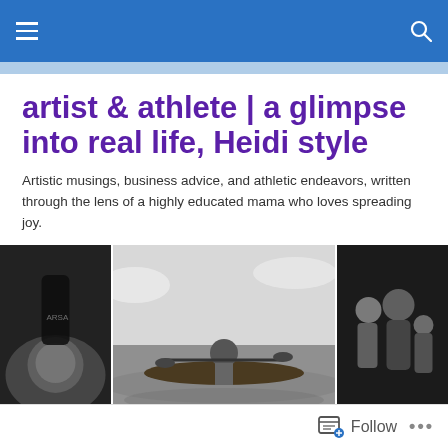Navigation bar with hamburger menu and search icon
artist & athlete | a glimpse into real life, Heidi style
Artistic musings, business advice, and athletic endeavors, written through the lens of a highly educated mama who loves spreading joy.
[Figure (photo): Three black-and-white photos side by side: left shows a hand holding a medallion/keychain, center shows a person kayaking on open water, right shows two people flexing muscles]
Fall is here! (Part II)
Follow   ...